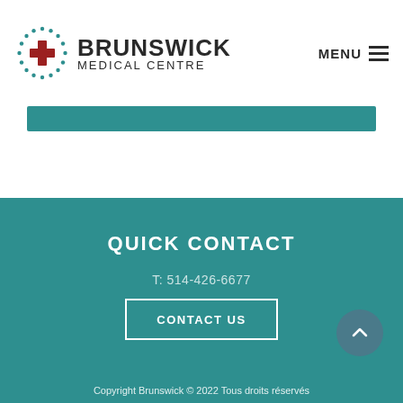[Figure (logo): Brunswick Medical Centre logo with circular dotted border and red cross icon, followed by text BRUNSWICK MEDICAL CENTRE]
MENU
QUICK CONTACT
T: 514-426-6677
CONTACT US
Copyright Brunswick © 2022 Tous droits réservés